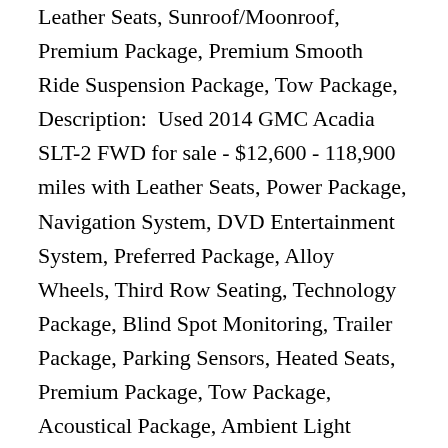Leather Seats, Sunroof/Moonroof, Premium Package, Premium Smooth Ride Suspension Package, Tow Package, Description:  Used 2014 GMC Acadia SLT-2 FWD for sale - $12,600 - 118,900 miles with Leather Seats, Power Package, Navigation System, DVD Entertainment System, Preferred Package, Alloy Wheels, Third Row Seating, Technology Package, Blind Spot Monitoring, Trailer Package, Parking Sensors, Heated Seats, Premium Package, Tow Package, Acoustical Package, Ambient Light Package, Bluetooth, Backup Camera, Remote Start, Cargo Package, Convenience Package, Description:  Used 2014 Mercedes-Benz C-Class C 250 Sport for sale - $13,500 - 57,000 miles with Sport Package,